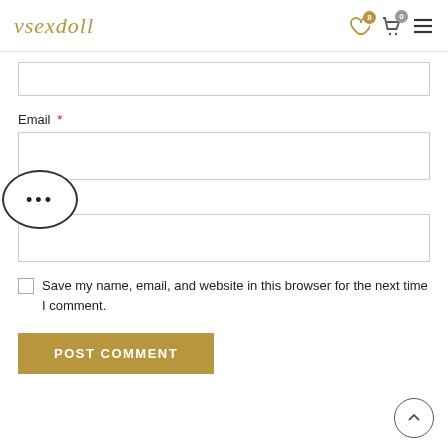vsexdoll
Email *
Website
Save my name, email, and website in this browser for the next time I comment.
POST COMMENT